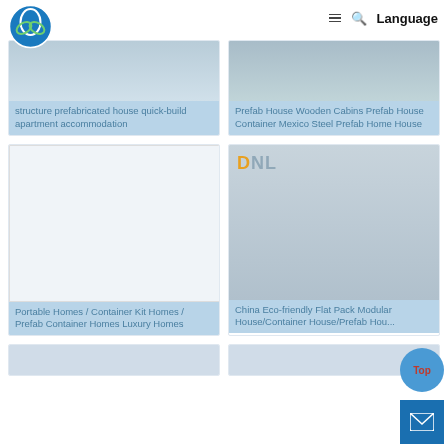[Figure (logo): Round blue and green organization logo]
Language
[Figure (photo): Structure prefabricated building exterior]
structure prefabricated house quick-build apartment accommodation
[Figure (photo): Prefab house wooden cabin interior view]
Prefab House Wooden Cabins Prefab House Container Mexico Steel Prefab Home House
[Figure (photo): White blank card / empty image]
Portable Homes / Container Kit Homes / Prefab Container Homes Luxury Homes
[Figure (photo): Multi-story container modular building exterior, DNL logo overlay]
China Eco-friendly Flat Pack Modular House/Container House/Prefab Hou...
[Figure (photo): Partial bottom row left product card]
[Figure (photo): Partial bottom row right product card]